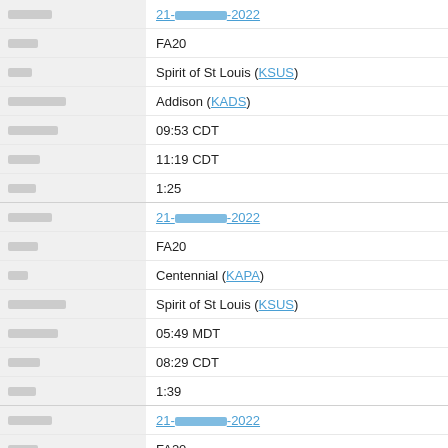| Field | Value |
| --- | --- |
| תאריך | 21-[redacted]-2022 |
| מטוס | FA20 |
| מוצא | Spirit of St Louis (KSUS) |
| יעד נוחיות | Addison (KADS) |
| המראה | 09:53 CDT |
| נחיתה | 11:19 CDT |
| משך | 1:25 |
| תאריך | 21-[redacted]-2022 |
| מטוס | FA20 |
| מוצא | Centennial (KAPA) |
| יעד נוחיות | Spirit of St Louis (KSUS) |
| המראה | 05:49 MDT |
| נחיתה | 08:29 CDT |
| משך | 1:39 |
| תאריך | 21-[redacted]-2022 |
| מטוס | FA20 |
| מוצא | Salina Rgnl (KSLN) |
| יעד נוחיות | Centennial (KAPA) |
| המראה | 04:39 CDT |
| נחיתה | 04:43 MDT |
| משך | 1:03 |